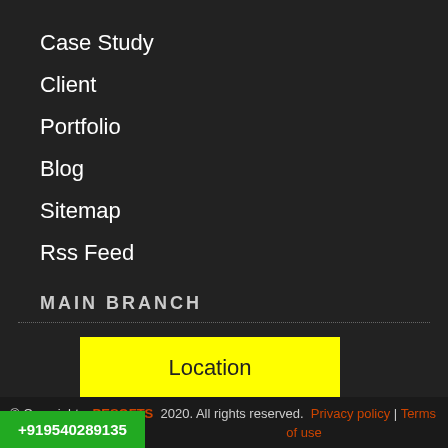Case Study
Client
Portfolio
Blog
Sitemap
Rss Feed
MAIN BRANCH
Location
[Figure (other): Row of 5 social media icons in circles: Facebook, Instagram, YouTube, Twitter, LinkedIn]
© Copyrights PESOFTS 2020. All rights reserved. Privacy policy | Terms of use
+919540289135